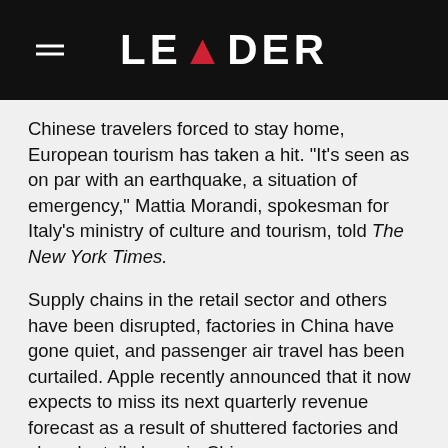LEADER
Chinese travelers forced to stay home, European tourism has taken a hit. “It’s seen as on par with an earthquake, a situation of emergency,” Mattia Morandi, spokesman for Italy’s ministry of culture and tourism, told The New York Times.
Supply chains in the retail sector and others have been disrupted, factories in China have gone quiet, and passenger air travel has been curtailed. Apple recently announced that it now expects to miss its next quarterly revenue forecast as a result of shuttered factories and closed retail shops in China.
“This is going to be a slow-rolling, highly consequential event,” says Meyer. “I would say stock up on aspirin and Ibuprofen now, because the base ingredients come from China. Antibiotics come from China, Hong Kong wholly